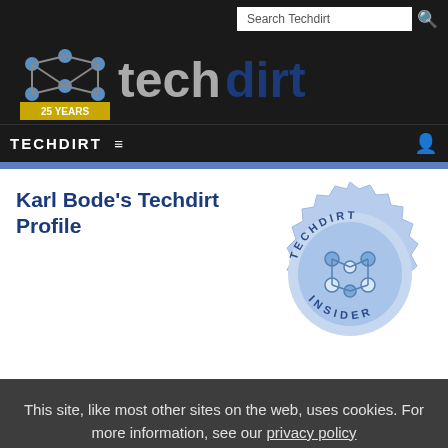Search Techdirt
[Figure (logo): Techdirt logo with 25 years badge and stylized network icon]
TECHDIRT ☰
Karl Bode's Techdirt Profile
[Figure (illustration): Techdirt Insider badge - blue circular seal with network/button icon and text TECHDIRT INSIDER around the edge, jagged border]
This site, like most other sites on the web, uses cookies. For more information, see our privacy policy
GOT IT